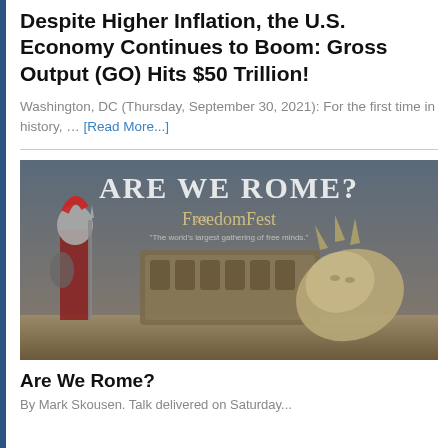Despite Higher Inflation, the U.S. Economy Continues to Boom: Gross Output (GO) Hits $50 Trillion!
Washington, DC (Thursday, September 30, 2021): For the first time in history, … [Read More...]
[Figure (illustration): FreedomFest promotional banner with text 'ARE WE ROME?' showing a Roman soldier, the Colosseum, and a fallen Statue of Liberty, with 'FreedomFest – The world's largest gathering of free minds' text.]
Are We Rome?
By Mark Skousen. Talk delivered on Saturday...